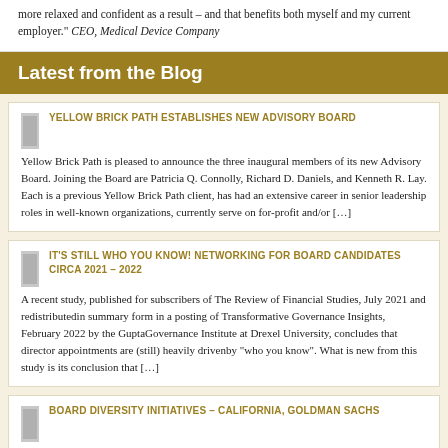more relaxed and confident as a result – and that benefits both myself and my current employer." CEO, Medical Device Company
Latest from the Blog
YELLOW BRICK PATH ESTABLISHES NEW ADVISORY BOARD
Yellow Brick Path is pleased to announce the three inaugural members of its new Advisory Board. Joining the Board are Patricia Q. Connolly, Richard D. Daniels, and Kenneth R. Lay. Each is a previous Yellow Brick Path client, has had an extensive career in senior leadership roles in well-known organizations, currently serve on for-profit and/or […]
IT'S STILL WHO YOU KNOW! NETWORKING FOR BOARD CANDIDATES CIRCA 2021 – 2022
A recent study, published for subscribers of The Review of Financial Studies, July 2021 and redistributedin summary form in a posting of Transformative Governance Insights, February 2022 by the GuptaGovernance Institute at Drexel University, concludes that director appointments are (still) heavily drivenby "who you know". What is new from this study is its conclusion that […]
BOARD DIVERSITY INITIATIVES – CALIFORNIA, GOLDMAN SACHS
Over the past decade attention to the Board role and composition has